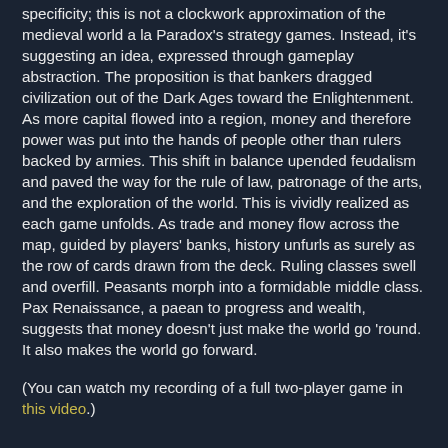specificity; this is not a clockwork approximation of the medieval world a la Paradox's strategy games. Instead, it's suggesting an idea, expressed through gameplay abstraction. The proposition is that bankers dragged civilization out of the Dark Ages toward the Enlightenment. As more capital flowed into a region, money and therefore power was put into the hands of people other than rulers backed by armies. This shift in balance upended feudalism and paved the way for the rule of law, patronage of the arts, and the exploration of the world. This is vividly realized as each game unfolds. As trade and money flow across the map, guided by players' banks, history unfurls as surely as the row of cards drawn from the deck. Ruling classes swell and overfill. Peasants morph into a formidable middle class. Pax Renaissance, a paean to progress and wealth, suggests that money doesn't just make the world go 'round. It also makes the world go forward.
(You can watch my recording of a full two-player game in this video.)